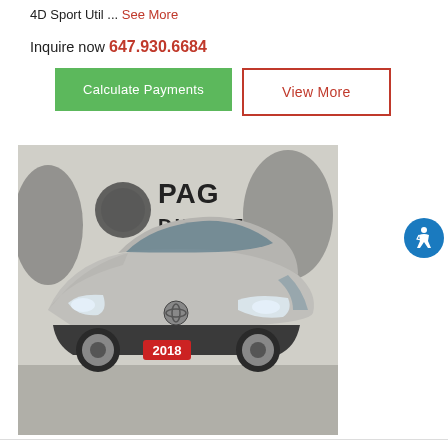4D Sport Util ... See More
Inquire now 647.930.6684
Calculate Payments
View More
[Figure (photo): Silver 2018 Toyota C-HR SUV parked indoors at PAG Direct dealership. The vehicle has distinctive angular styling with LED headlights. A red '2018' sticker is visible on the front bumper. The PAG Direct logo with a lion head is visible on the wall in the background.]